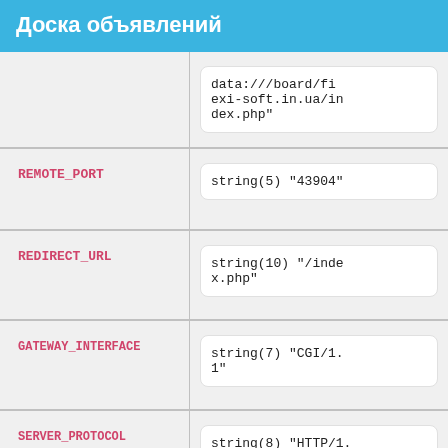Доска объявлений
| Key | Value |
| --- | --- |
|  | data:///board/fi
exi-soft.in.ua/in
dex.php" |
| REMOTE_PORT | string(5) "43904" |
| REDIRECT_URL | string(10) "/inde
x.php" |
| GATEWAY_INTERFACE | string(7) "CGI/1.
1" |
| SERVER_PROTOCOL | string(8) "HTTP/1.
0" |
| REQUEST_METHOD | string(3) "GET" |